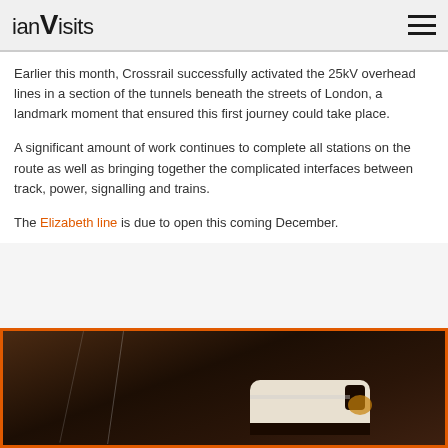ianVisits
Earlier this month, Crossrail successfully activated the 25kV overhead lines in a section of the tunnels beneath the streets of London, a landmark moment that ensured this first journey could take place.
A significant amount of work continues to complete all stations on the route as well as bringing together the complicated interfaces between track, power, signalling and trains.
The Elizabeth line is due to open this coming December.
[Figure (photo): A train photographed inside a dark tunnel, showing overhead wires and the front of a modern train with a distinctive white/black livery, lit from inside against the dark tunnel walls.]